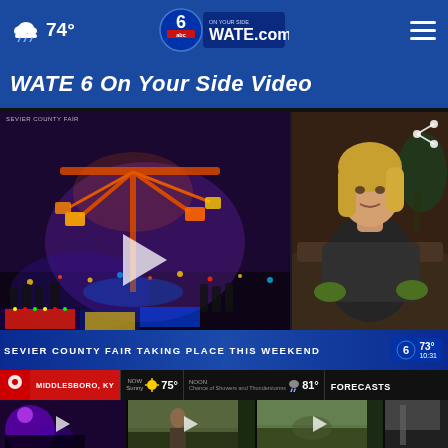74° WATE 6 abc On Your Side WATE.com
WATE 6 On Your Side Video
[Figure (screenshot): Main video thumbnail showing a fair ride at night at Sevier County Fair with play button overlay and lower-third chyron reading 'SEVIER COUNTY FAIR TAKING PLACE THIS WEEKEND']
[Figure (screenshot): Secondary video thumbnail showing a woman sitting in a chair, interior setting]
[Figure (screenshot): Bottom row thumbnail 1 - concert/event with purple lighting]
[Figure (screenshot): Bottom row thumbnail 2 - outdoor scene with person]
[Figure (screenshot): Bottom row thumbnail 3 - outdoor nature/animal scene]
[Figure (screenshot): Bottom row thumbnail 4 - street/outdoor scene (partially visible)]
SEVIER COUNTY FAIR TAKING PLACE THIS WEEKEND
73° 10:31
MIDDLESBORO, KY  NOW Sunny 75°  NOON Chance of Showers and Thunderstorms 81°  FORECASTS